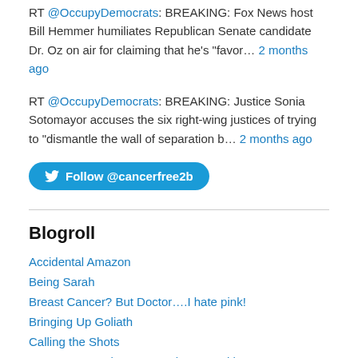RT @OccupyDemocrats: BREAKING: Fox News host Bill Hemmer humiliates Republican Senate candidate Dr. Oz on air for claiming that he's "favor… 2 months ago
RT @OccupyDemocrats: BREAKING: Justice Sonia Sotomayor accuses the six right-wing justices of trying to "dismantle the wall of separation b… 2 months ago
Follow @cancerfree2b
Blogroll
Accidental Amazon
Being Sarah
Breast Cancer? But Doctor….I hate pink!
Bringing Up Goliath
Calling the Shots
Cancer Curmudgeon's AnotherOneWithCancer